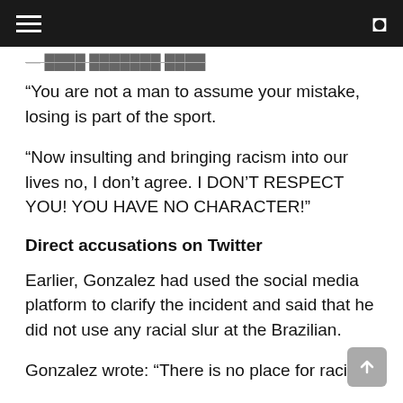— [partially obscured header text]
“You are not a man to assume your mistake, losing is part of the sport.
“Now insulting and bringing racism into our lives no, I don’t agree. I DON’T RESPECT YOU! YOU HAVE NO CHARACTER!”
Direct accusations on Twitter
Earlier, Gonzalez had used the social media platform to clarify the incident and said that he did not use any racial slur at the Brazilian.
Gonzalez wrote: “There is no place for racism.